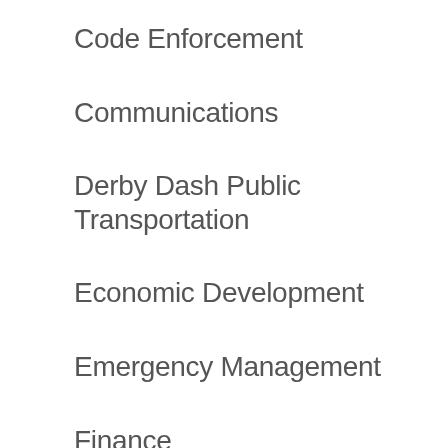Code Enforcement
Communications
Derby Dash Public Transportation
Economic Development
Emergency Management
Finance
Fire & Rescue
Floodplain Management